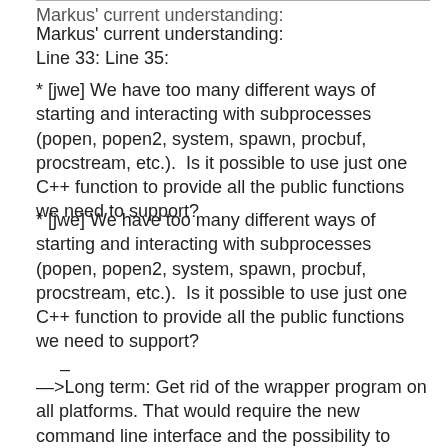Markus' current understanding:
Markus' current understanding:
Line 33: Line 35:
* [jwe] We have too many different ways of starting and interacting with subprocesses (popen, popen2, system, spawn, procbuf, procstream, etc.).  Is it possible to use just one C++ function to provide all the public functions we need to support?
* [jwe] We have too many different ways of starting and interacting with subprocesses (popen, popen2, system, spawn, procbuf, procstream, etc.).  Is it possible to use just one C++ function to provide all the public functions we need to support?
–
—>Long term: Get rid of the wrapper program on all platforms. That would require the new command line interface and the possibility to dynamically load the GUI (optionally). This will probably not happen before Octave 8.